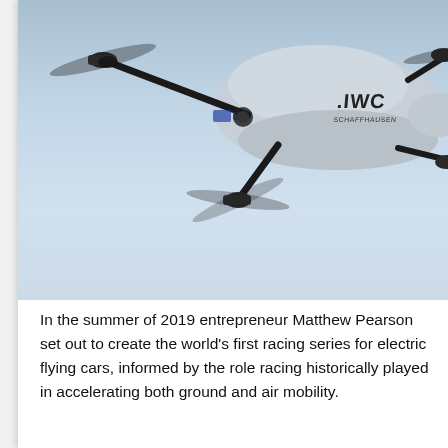[Figure (photo): An electric flying vehicle (eVTOL/drone-like aircraft) in flight against a light blue-grey sky. The craft has a sleek white/light grey fuselage with 'IWC Schaffhausen' branding visible on the side, and multiple rotor arms with spinning propellers extending from the body.]
In the summer of 2019 entrepreneur Matthew Pearson set out to create the world's first racing series for electric flying cars, informed by the role racing historically played in accelerating both ground and air mobility.